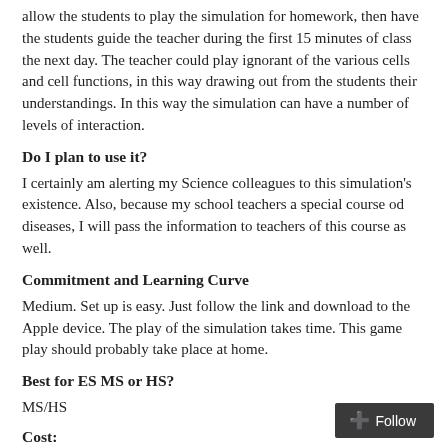allow the students to play the simulation for homework, then have the students guide the teacher during the first 15 minutes of class the next day. The teacher could play ignorant of the various cells and cell functions, in this way drawing out from the students their understandings. In this way the simulation can have a number of levels of interaction.
Do I plan to use it?
I certainly am alerting my Science colleagues to this simulation’s existence. Also, because my school teachers a special course od diseases, I will pass the information to teachers of this course as well.
Commitment and Learning Curve
Medium. Set up is easy. Just follow the link and download to the Apple device. The play of the simulation takes time. This game play should probably take place at home.
Best for ES MS or HS?
MS/HS
Cost:
Free!